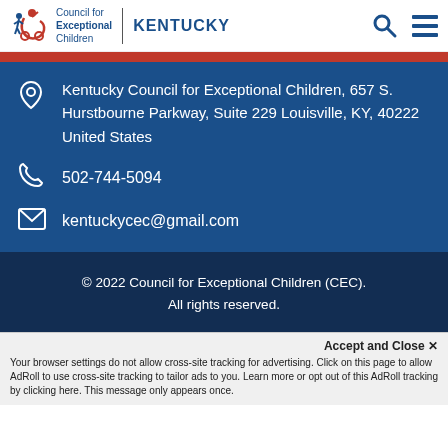Council for Exceptional Children | KENTUCKY
Kentucky Council for Exceptional Children, 657 S. Hurstbourne Parkway, Suite 229 Louisville, KY, 40222 United States
502-744-5094
kentuckycec@gmail.com
© 2022 Council for Exceptional Children (CEC). All rights reserved.
Accept and Close ✕
Your browser settings do not allow cross-site tracking for advertising. Click on this page to allow AdRoll to use cross-site tracking to tailor ads to you. Learn more or opt out of this AdRoll tracking by clicking here. This message only appears once.